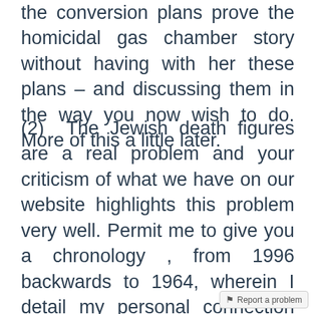the conversion plans prove the homicidal gas chamber story without having with her these plans – and discussing them in the way you now wish to do. More of this a little later.
(2)  The Jewish death figures are a real problem and your criticism of what we have on our website highlights this problem very well. Permit me to give you a chronology , from 1996 backwards to 1964, wherein I detail my personal connection with the 6:4 million death figure as it presented itself in the public domain. I hasten to add that what you say is quite correct, i.e. The 6:4 million death figure can be argued about. Greg Raven of the IHR informs that it was once claimed that of the six million Jewish deaths, two mil the East, at any it is a good for million